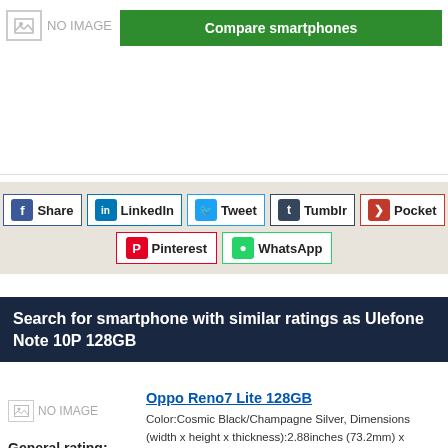[Figure (other): NO IMAGE placeholder box with grey icon]
Compare smartphones
Share | LinkedIn | Tweet | Tumblr | Pocket | Pinterest | WhatsApp
Search for smartphone with similar ratings as Ulefone Note 10P 128GB
Oppo Reno7 Lite 128GB
[Figure (other): NO IMAGE placeholder for Oppo Reno7 Lite]
General rating:
Color:Cosmic Black/Champagne Silver, Dimensions (width x height x thickness):2.88inches (73.2mm) x 6.3inches (159.9mm) x 0.295inches (7.5mm), Weight:6.0915oz (173g), Display type:AMOLED,